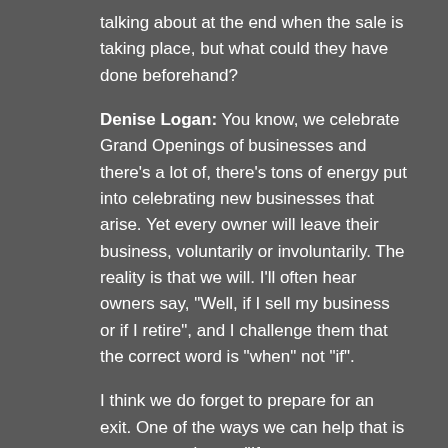talking about at the end when the sale is taking place, but what could they have done beforehand?
Denise Logan: You know, we celebrate Grand Openings of businesses and there's a lot of, there's tons of energy put into celebrating new businesses that arise. Yet every owner will leave their business, voluntarily or involuntarily. The reality is that we will. I'll often hear owners say, "Well, if I sell my business or if I retire", and I challenge them that the correct word is "when" not "if".
I think we do forget to prepare for an exit. One of the ways we can help that is to pay attention to, "If next year, you were going to exit your business, how would you be preparing for that?" Because lots of things cause us to exit our business. It can certainly